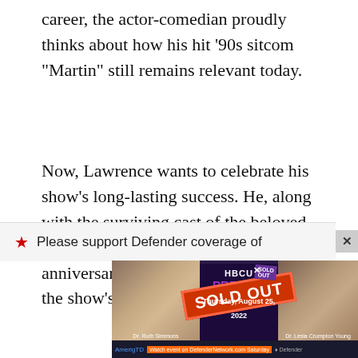career, the actor-comedian proudly thinks about how his hit ’90s sitcom “Martin” still remains relevant today.
Now, Lawrence wants to celebrate his show’s long-lasting success. He, along with the surviving cast of the beloved comedy series, will reunite for a 30th-anniversary special, which will focus on the show’s origin and evolution.
[Figure (other): Advertisement banner with a red star icon and text 'Please support Defender coverage of', with a close (x) button. Below is an HBCU Presidents event advertisement image showing two women (Dr. Ruth Simmons and Dr. Lesia Crumpton Young), a 'SOLD OUT' stamp overlay, 'Thursday, August 25, 2022' date, and a footer bar with AmeritradeTD and Defender logos.]